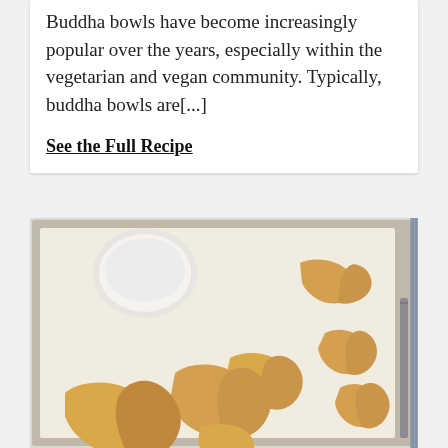Buddha bowls have become increasingly popular over the years, especially within the vegetarian and vegan community. Typically, buddha bowls are[...]
See the Full Recipe
[Figure (photo): Overhead photo of golden-brown baked chicken wings arranged on parchment paper on a baking sheet, with a small white bowl of creamy dipping sauce in the upper left corner.]